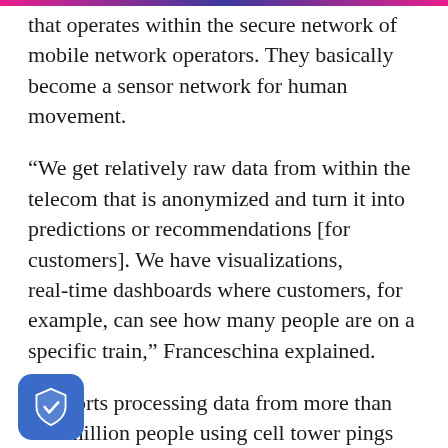that operates within the secure network of mobile network operators. They basically become a sensor network for human movement.
“We get relatively raw data from within the telecom that is anonymized and turn it into predictions or recommendations [for customers]. We have visualizations, real-time dashboards where customers, for example, can see how many people are on a specific train,” Franceschina explained.
It reports processing data from more than 400 million people using cell tower pings and incoming WiFi, combined with clickstream data from mobile ces. It reportedly has worked with eight telecoms so far, operating in Zurich, New York,